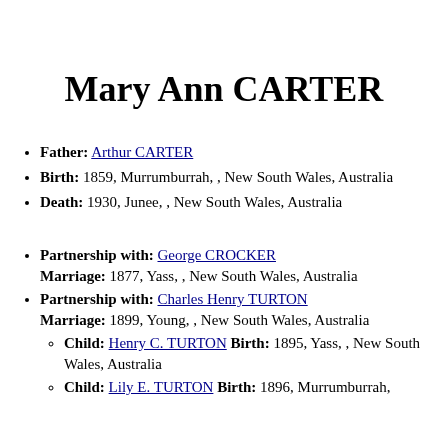Mary Ann CARTER
Father: Arthur CARTER
Birth: 1859, Murrumburrah, , New South Wales, Australia
Death: 1930, Junee, , New South Wales, Australia
Partnership with: George CROCKER Marriage: 1877, Yass, , New South Wales, Australia
Partnership with: Charles Henry TURTON Marriage: 1899, Young, , New South Wales, Australia
Child: Henry C. TURTON Birth: 1895, Yass, , New South Wales, Australia
Child: Lily E. TURTON Birth: 1896, Murrumburrah,